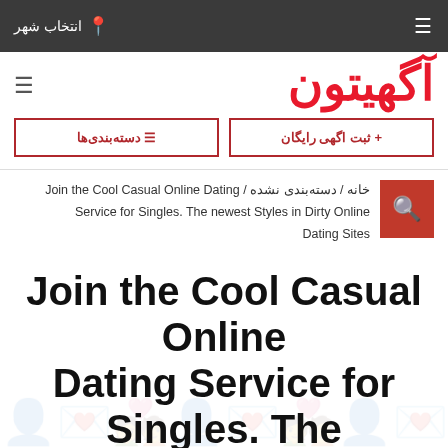انتخاب شهر
آگهیتون
+ ثبت اگهی رایگان
≡ دسته‌بندی‌ها
خانه / دسته‌بندی نشده / Join the Cool Casual Online Dating Service for Singles. The newest Styles in Dirty Online Dating Sites
Join the Cool Casual Online Dating Service for Singles. The newest Styles in Dirty Online Dating Sites